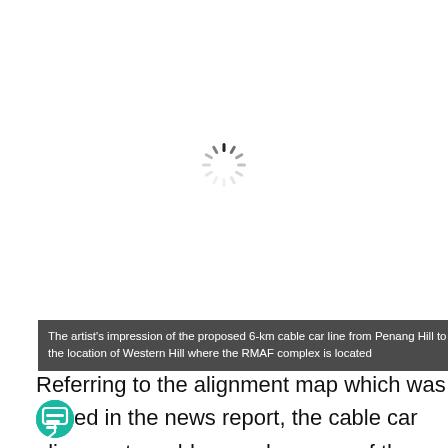[Figure (other): Loading spinner (circular dashes) indicating an image is loading, over a white background]
The artist's impression of the proposed 6-km cable car line from Penang Hill to Teluk Bahang – Source: www.thestar.com.my Note: The yellow box close to the drawn pylons indicates the location of Western Hill where the RMAF complex is located
Referring to the alignment map which was [cover]ed in the news report, the cable car alignment would pass along one of the ridges